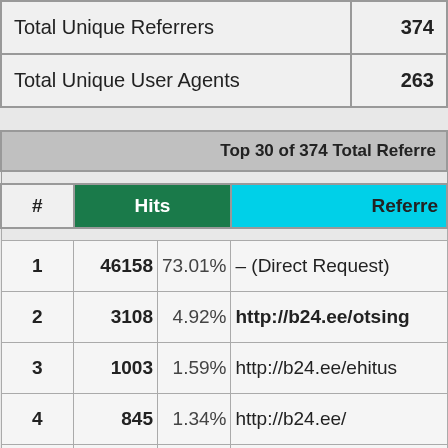|  |  |
| --- | --- |
| Total Unique Referrers | 374 |
| Total Unique User Agents | 263 |
| # | Hits | Referrer |
| --- | --- | --- |
| 1 | 46158 | 73.01% | – (Direct Request) |
| 2 | 3108 | 4.92% | http://b24.ee/otsing |
| 3 | 1003 | 1.59% | http://b24.ee/ehitus |
| 4 | 845 | 1.34% | http://b24.ee/ |
| 5 | 469 | 0.74% | http://b24.ee/pakendid |
| 6 | 434 | 0.69% | http://b24.ee/autoremont |